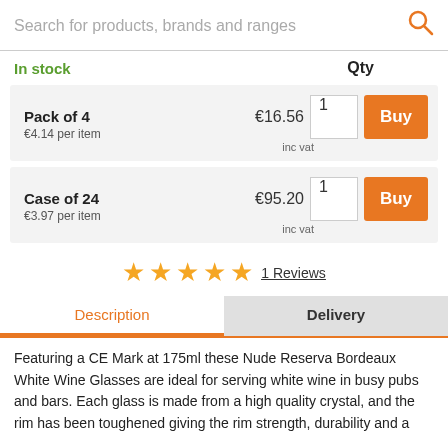Search for products, brands and ranges
In stock
Qty
Pack of 4
€4.14 per item
€16.56
inc vat
Case of 24
€3.97 per item
€95.20
inc vat
1 Reviews
Description
Delivery
Featuring a CE Mark at 175ml these Nude Reserva Bordeaux White Wine Glasses are ideal for serving white wine in busy pubs and bars. Each glass is made from a high quality crystal, and the rim has been toughened giving the rim strength, durability and a